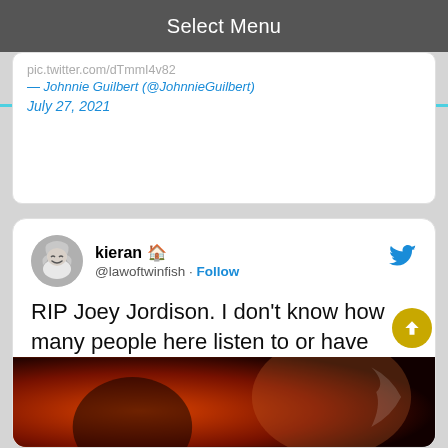Select Menu
pic.twitter.com/XXXXXXXX — Johnnie Guilbert (@JohnnieGuilbert) July 27, 2021
kieran 🏠 @lawoftwinfish · Follow
RIP Joey Jordison. I don't know how many people here listen to or have listened to Slipknot before but he drummed on some of the most important albums in modern metal music and important albums in my formative years. RIP to a legend.
[Figure (photo): Partial photo of a person, appears to be a concert or music-related image with red and dark tones]